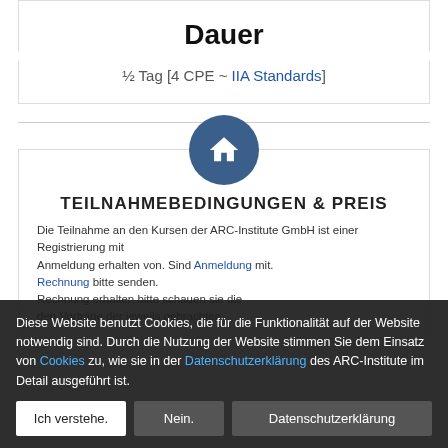Virtual Training – Online
Dauer
½ Tag [4 CPE ~ IIA Standards]
[Figure (illustration): Dark blue circle with white home/house icon]
TEILNAHMEBEDINGUNGEN & PREIS
Die Teilnahme... Anmeldung erhalten von. Sind Anmeldung mit. Rechnung bitte senden. Rechnung erhalten. Den Vorträge der jeweils gebrachten.
Diese Website benutzt Cookies, die für die Funktionalität auf der Website notwendig sind. Durch die Nutzung der Website stimmen Sie dem Einsatz von Cookies zu, wie sie in der Datenschutzerklärung des ARC-Institute im Detail ausgeführt ist.
Ich verstehe. | Nein. | Datenschutzerklärung